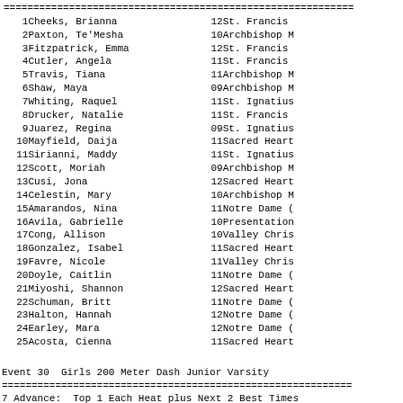| # | Name | Yr | School | Time |
| --- | --- | --- | --- | --- |
| 1 | Cheeks, Brianna | 12 | St. Francis |  |
| 2 | Paxton, Te'Mesha | 10 | Archbishop M |  |
| 3 | Fitzpatrick, Emma | 12 | St. Francis |  |
| 4 | Cutler, Angela | 11 | St. Francis |  |
| 5 | Travis, Tiana | 11 | Archbishop M |  |
| 6 | Shaw, Maya | 09 | Archbishop M |  |
| 7 | Whiting, Raquel | 11 | St. Ignatius |  |
| 8 | Drucker, Natalie | 11 | St. Francis |  |
| 9 | Juarez, Regina | 09 | St. Ignatius |  |
| 10 | Mayfield, Daija | 11 | Sacred Heart |  |
| 11 | Sirianni, Maddy | 11 | St. Ignatius |  |
| 12 | Scott, Moriah | 09 | Archbishop M |  |
| 13 | Cusi, Jona | 12 | Sacred Heart |  |
| 14 | Celestin, Mary | 10 | Archbishop M |  |
| 15 | Amarandos, Nina | 11 | Notre Dame ( |  |
| 16 | Avila, Gabrielle | 10 | Presentation |  |
| 17 | Cong, Allison | 10 | Valley Chris |  |
| 18 | Gonzalez, Isabel | 11 | Sacred Heart |  |
| 19 | Favre, Nicole | 11 | Valley Chris |  |
| 20 | Doyle, Caitlin | 11 | Notre Dame ( |  |
| 21 | Miyoshi, Shannon | 12 | Sacred Heart |  |
| 22 | Schuman, Britt | 11 | Notre Dame ( |  |
| 23 | Halton, Hannah | 12 | Notre Dame ( |  |
| 24 | Earley, Mara | 12 | Notre Dame ( |  |
| 25 | Acosta, Cienna | 11 | Sacred Heart |  |
Event 30  Girls 200 Meter Dash Junior Varsity
7 Advance:  Top 1 Each Heat plus Next 2 Best Times